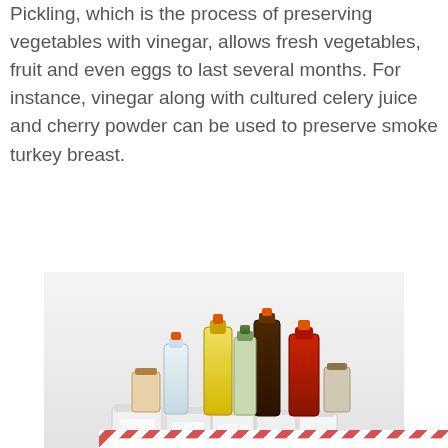Pickling, which is the process of preserving vegetables with vinegar, allows fresh vegetables, fruit and even eggs to last several months. For instance, vinegar along with cultured celery juice and cherry powder can be used to preserve smoke turkey breast.
[Figure (photo): Collection of various glass bottles and jars containing vinegar, oils, pickles and condiments arranged together]
[Figure (infographic): Popup overlay with diagonal red and white stripe border containing 'BOOK YOUR CONSULTATION!!!' heading, a pink section with italic quote about acetic acid in vinegar killing bacteria, and a 'Click Here for Registration' button. A grey close (X) button appears at top right.]
BOOK YOUR CONSULTATION!!!
"Acetic acid in vinegar kills the bacteria that spoil food and the acidity creates an environment they can't survive in. Most traditional pickling solutions use vinegar, water, salt and sugar."
Click Here for Registration